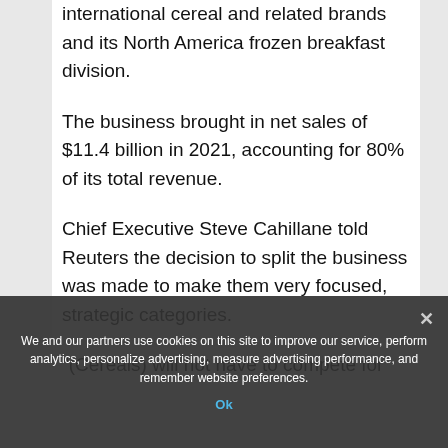international cereal and related brands and its North America frozen breakfast division.
The business brought in net sales of $11.4 billion in 2021, accounting for 80% of its total revenue.
Chief Executive Steve Cahillane told Reuters the decision to split the business was made to make them very focused, strategic categories.
"(Cereals) will not have to compete for
We and our partners use cookies on this site to improve our service, perform analytics, personalize advertising, measure advertising performance, and remember website preferences.